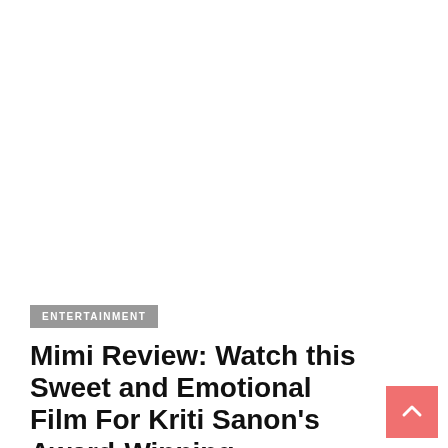[Figure (photo): Large image area at top of page, appears blank/white (image not loaded)]
ENTERTAINMENT
Mimi Review: Watch this Sweet and Emotional Film For Kriti Sanon's Award-Winning Performance.